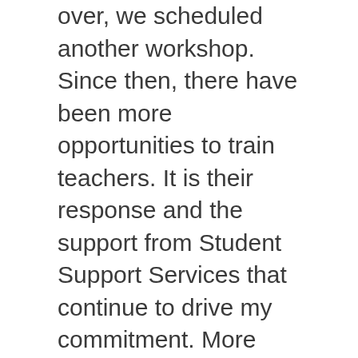over, we scheduled another workshop. Since then, there have been more opportunities to train teachers. It is their response and the support from Student Support Services that continue to drive my commitment. More importantly, my commitment is driven by the children who learn the skills and techniques that address the experience of anxiety.
Over 66 elementary schools in the Surrey School District have at least one or more teachers trained to run the FRIENDS for Life program. My goal for the upcoming school year is